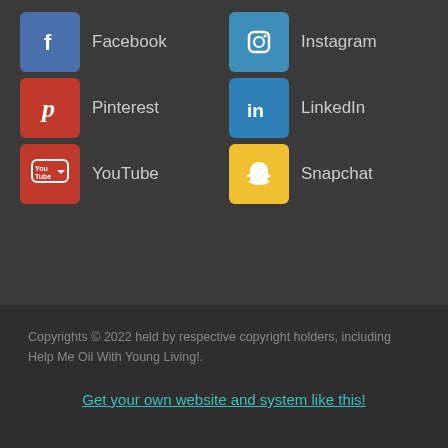Facebook
Instagram
Pinterest
LinkedIn
YouTube
Snapchat
Copyrights © 2022 held by respective copyright holders, including Help Me Oil With Young Living!.
Get your own website and system like this!